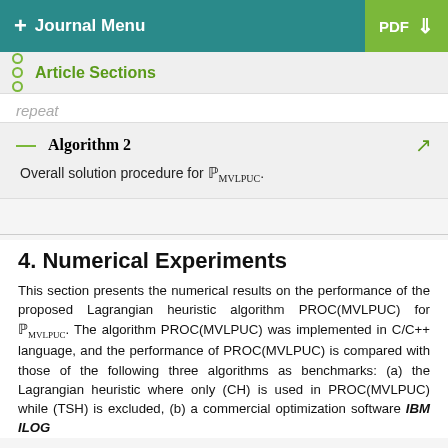+ Journal Menu | PDF (download)
Article Sections
repeat
Algorithm 2 — Overall solution procedure for P_MVLPUC.
4. Numerical Experiments
This section presents the numerical results on the performance of the proposed Lagrangian heuristic algorithm PROC(MVLPUC) for P_MVLPUC. The algorithm PROC(MVLPUC) was implemented in C/C++ language, and the performance of PROC(MVLPUC) is compared with those of the following three algorithms as benchmarks: (a) the Lagrangian heuristic where only (CH) is used in PROC(MVLPUC) while (TSH) is excluded, (b) a commercial optimization software IBM ILOG